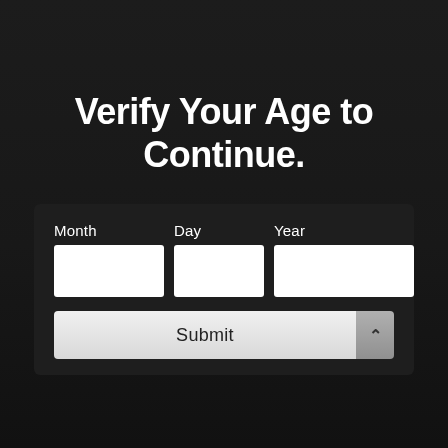Verify Your Age to Continue.
[Figure (screenshot): Age verification form with Month, Day, Year input fields and a Submit button on a dark background]